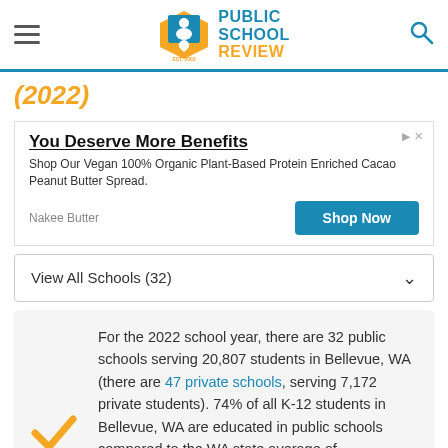PUBLIC SCHOOL REVIEW EST. 2003
(2022)
[Figure (other): Advertisement banner: 'You Deserve More Benefits' - Nakee Butter vegan protein product ad with Shop Now button]
View All Schools (32)
For the 2022 school year, there are 32 public schools serving 20,807 students in Bellevue, WA (there are 47 private schools, serving 7,172 private students). 74% of all K-12 students in Bellevue, WA are educated in public schools compared to the WA state average of